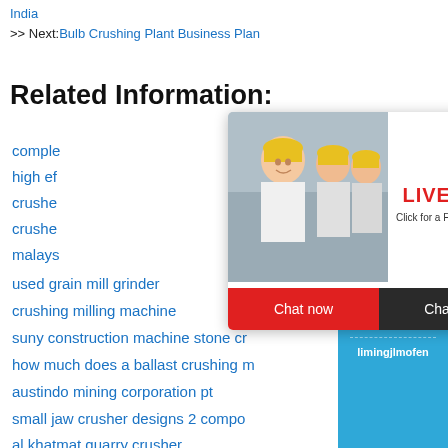India
>> Next: Bulb Crushing Plant Business Plan
Related Information:
complete...
high ef...
crushe...
crushe...
malays...
used grain mill grinder
crushing milling machine
suny construction machine stone cr...
how much does a ballast crushing m...
austindo mining corporation pt
small jaw crusher designs 2 compo...
al khatmat quarry crusher
[Figure (screenshot): Live Chat popup with workers in hard hats, red LIVE CHAT text, Chat now and Chat later buttons]
[Figure (screenshot): Right sidebar with blue background showing hour online, crusher machine image, Click me to chat>>, Enquiry, limingjlmofen]